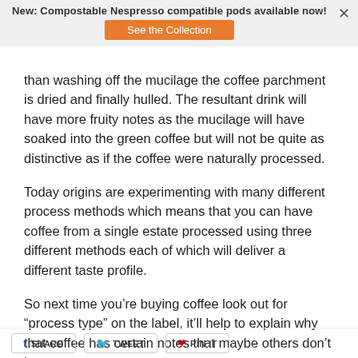New: Compostable Nespresso compatible pods available now!
than washing off the mucilage the coffee parchment is dried and finally hulled. The resultant drink will have more fruity notes as the mucilage will have soaked into the green coffee but will not be quite as distinctive as if the coffee were naturally processed.
Today origins are experimenting with many different process methods which means that you can have coffee from a single estate processed using three different methods each of which will deliver a different taste profile.
So next time you’re buying coffee look out for “process type” on the label, it’ll help to explain why that coffee has certain notes that maybe others don’t have.